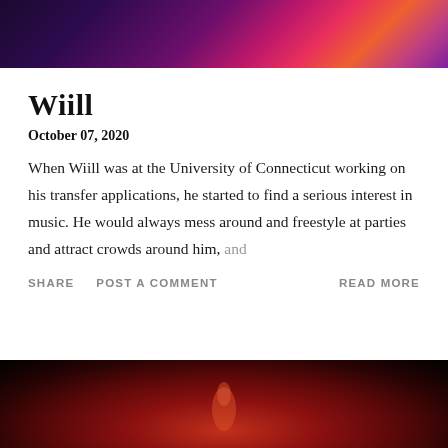[Figure (photo): Concert/performance photo with pink, purple and orange stage lighting, dark background, figure performing on stage at top of page]
Wiill
October 07, 2020
When Wiill was at the University of Connecticut working on his transfer applications, he started to find a serious interest in music. He would always mess around and freestyle at parties and attract crowds around him, and
SHARE  POST A COMMENT  READ MORE
[Figure (photo): Concert/performance photo with deep red and dark stage lighting, figure visible in center with dramatic lighting at bottom of page]